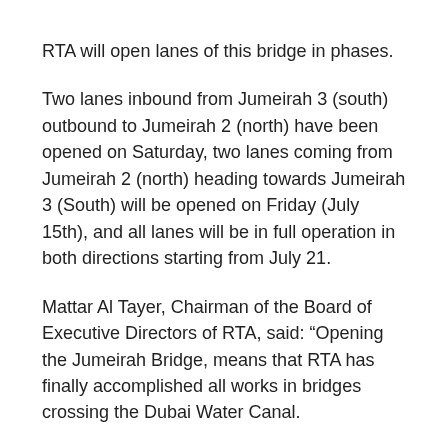RTA will open lanes of this bridge in phases.
Two lanes inbound from Jumeirah 3 (south) outbound to Jumeirah 2 (north) have been opened on Saturday, two lanes coming from Jumeirah 2 (north) heading towards Jumeirah 3 (South) will be opened on Friday (July 15th), and all lanes will be in full operation in both directions starting from July 21.
Mattar Al Tayer, Chairman of the Board of Executive Directors of RTA, said: “Opening the Jumeirah Bridge, means that RTA has finally accomplished all works in bridges crossing the Dubai Water Canal.
“Works would now focus on digging a sector of the Canal underneath the bridges, building quay walls of the Canal, constructing three footbridges linking the two shores of the